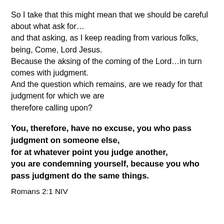So I take that this might mean that we should be careful about what ask for…
and that asking, as I keep reading from various folks, being, Come, Lord Jesus.
Because the aksing of the coming of the Lord…in turn comes with judgment.
And the question which remains, are we ready for that judgment for which we are therefore calling upon?
You, therefore, have no excuse, you who pass judgment on someone else,
for at whatever point you judge another,
you are condemning yourself, because you who pass judgment do the same things.
Romans 2:1 NIV